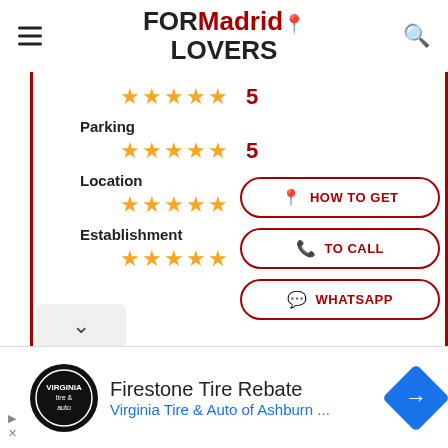FOR Madrid LOVERS
★★★★★ 5
Parking
★★★★★ 5
Location
★★★★★ 5
Establishment
★★★★★ 5
HOW TO GET
TO CALL
WHATSAPP
Firestone Tire Rebate
Virginia Tire & Auto of Ashburn ...